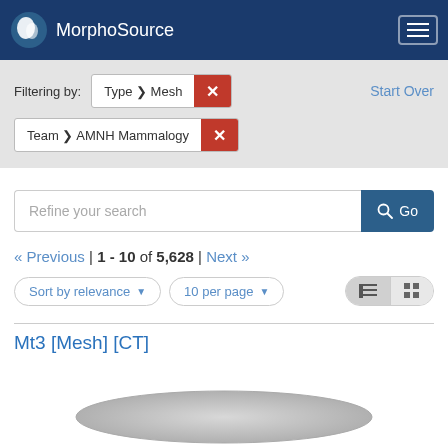MorphoSource
Filtering by: Type ▶ Mesh  ✕    Start Over
Team ▶ AMNH Mammalogy  ✕
Refine your search
« Previous | 1 - 10 of 5,628 | Next »
Sort by relevance ▼   10 per page ▼
Mt3 [Mesh] [CT]
[Figure (photo): Partial view of a 3D mesh object (gray elongated shape), bottom of page]